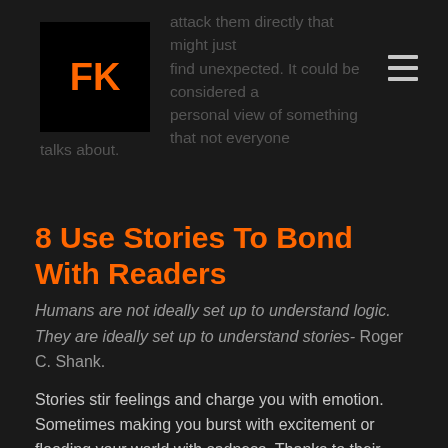FK
attack them directly that might just find unexpected. It could be considered a personal view of something that not everyone talks about.
8 Use Stories To Bond With Readers
Humans are not ideally set up to understand logic. They are ideally set up to understand stories- Roger C. Shank.
Stories stir feelings and charge you with emotion. Sometimes making you burst with excitement or flooding your world with sadness. Thanks to their extreme power, they are a popular tool amongst copywriters.
A recent experiment by journalist Rob Walker set out to test the power of stories and how they can